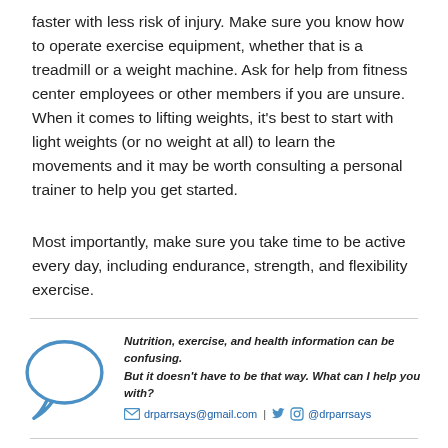faster with less risk of injury. Make sure you know how to operate exercise equipment, whether that is a treadmill or a weight machine. Ask for help from fitness center employees or other members if you are unsure. When it comes to lifting weights, it's best to start with light weights (or no weight at all) to learn the movements and it may be worth consulting a personal trainer to help you get started.
Most importantly, make sure you take time to be active every day, including endurance, strength, and flexibility exercise.
[Figure (other): Blue speech bubble icon with contact information: Nutrition, exercise, and health information can be confusing. But it doesn't have to be that way. What can I help you with? drparrsays@gmail.com | @drparrsays with email, Twitter, and Instagram icons.]